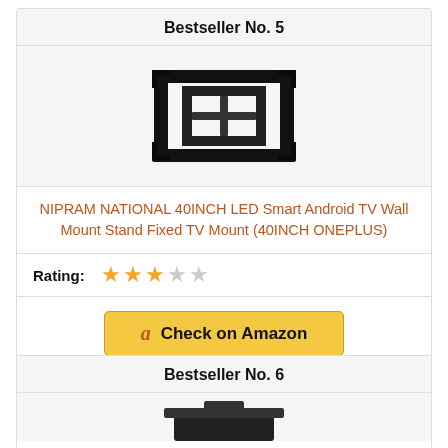Bestseller No. 5
[Figure (photo): TV wall mount bracket, black metal fixed mount]
NIPRAM NATIONAL 40INCH LED Smart Android TV Wall Mount Stand Fixed TV Mount (40INCH ONEPLUS)
Rating: ★★★☆☆ (3 out of 5 stars)
Check on Amazon
Bestseller No. 6
[Figure (photo): Partial product image visible at bottom]